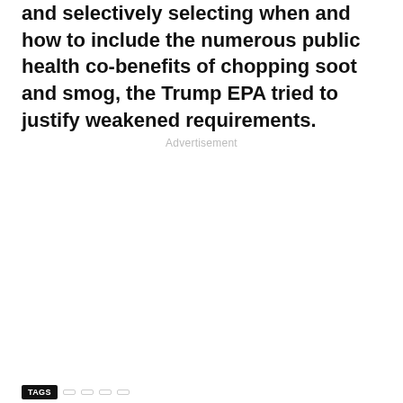and selectively selecting when and how to include the numerous public health co-benefits of chopping soot and smog, the Trump EPA tried to justify weakened requirements.
Advertisement
TAGS